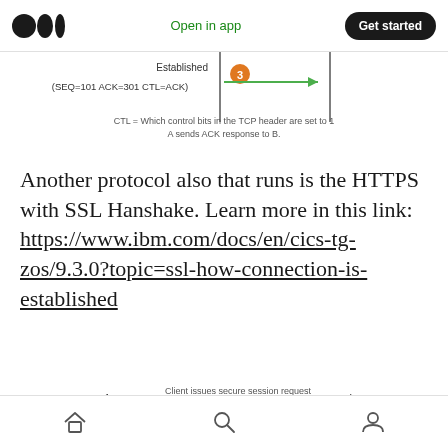Medium logo | Open in app | Get started
[Figure (engineering-diagram): TCP three-way handshake partial diagram showing step 3: Established state with (SEQ=101 ACK=301 CTL=ACK) arrow from A to B, and caption: CTL = Which control bits in the TCP header are set to 1. A sends ACK response to B.]
Another protocol also that runs is the HTTPS with SSL Hanshake. Learn more in this link: https://www.ibm.com/docs/en/cics-tg-zos/9.3.0?topic=ssl-how-connection-is-established
[Figure (engineering-diagram): SSL/HTTPS handshake diagram step 1: Client issues secure session request (https://someserver.org/somedata.html) arrow pointing right]
Home | Search | Profile navigation icons